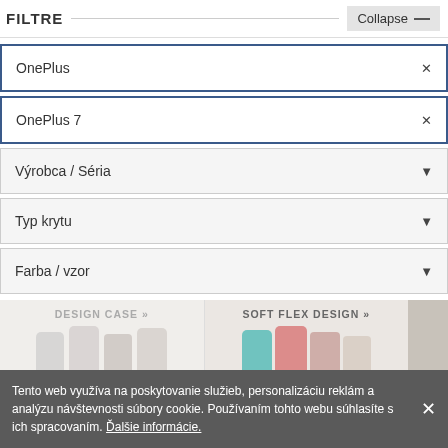FILTRE   Collapse —
OnePlus ×
OnePlus 7 ×
Výrobca / Séria ▼
Typ krytu ▼
Farba / vzor ▼
[Figure (screenshot): Product category banners: DESIGN CASE » and SOFT FLEX DESIGN » with phone case images]
Tento web využíva na poskytovanie služieb, personalizáciu reklám a analýzu návštevnosti súbory cookie. Používaním tohto webu súhlasíte s ich spracovaním. Ďalšie informácie.